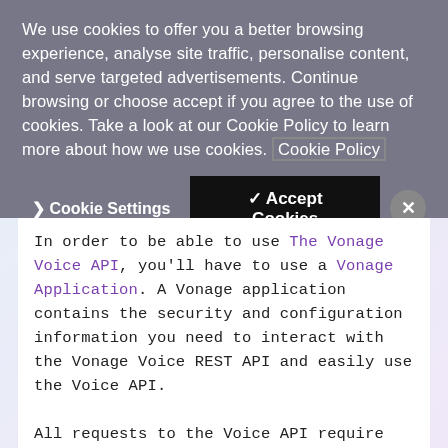We use cookies to offer you a better browsing experience, analyse site traffic, personalise content, and serve targeted advertisements. Continue browsing or choose accept if you agree to the use of cookies. Take a look at our Cookie Policy to learn more about how we use cookies. Cookie Policy
> Cookie Settings  ✓ Accept Cookies  ×
In order to be able to use The Vonage Voice API, you'll have to use a Vonage Application. A Vonage application contains the security and configuration information you need to interact with the Vonage Voice REST API and easily use the Voice API.
All requests to the Voice API require authentication. You must generate a private key with the Application API, which allows you to create JSON